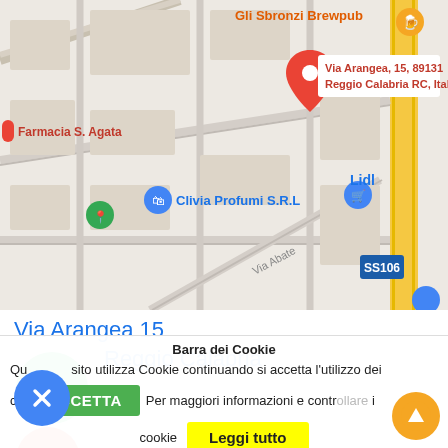[Figure (map): Google Maps screenshot showing a street map of Reggio Calabria, Italy. A red location pin marks 'Via Arangea, 15, 89131 Reggio Calabria RC, Italy'. Nearby POIs include 'Gli Sbronzi Brewpub' (orange marker), 'Farmacia S. Agata' (red label), 'Clivia Profumi S.R.L.' (blue marker), 'Lidl' (blue marker), and 'SS106' road sign. A diagonal yellow road runs on the right side. Street label 'Via Abate' is visible diagonally.]
Via Arangea 15
8... Reggio Calabria
Barra dei Cookie
Questo sito utilizza Cookie continuando si accetta l'utilizzo dei co... ACCETTA Per maggiori informazioni e controllare i cookie Leggi tutto